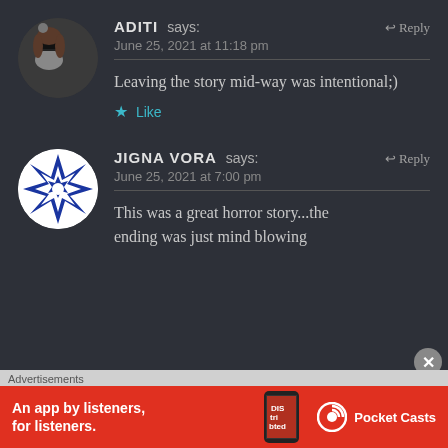[Figure (photo): Avatar photo of Aditi, a person taking a selfie with a phone covering their face, circular crop]
ADITI says:
June 25, 2021 at 11:18 pm
Reply
Leaving the story mid-way was intentional;)
Like
[Figure (logo): Jigna Vora avatar: circular blue and white geometric star/pinwheel pattern]
JIGNA VORA says:
June 25, 2021 at 7:00 pm
Reply
This was a great horror story...the ending was just mind blowing
Advertisements
[Figure (infographic): Red advertisement banner for Pocket Casts app: 'An app by listeners, for listeners.' with phone image and Pocket Casts logo on red background]